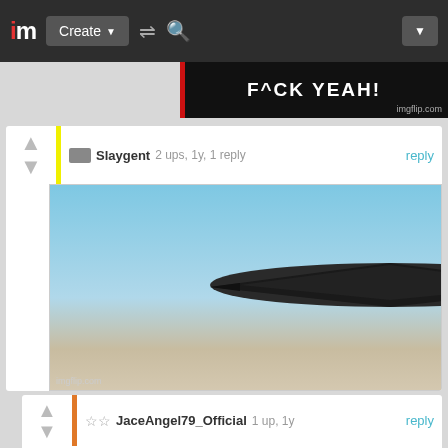im  Create  [shuffle]  [search]
[Figure (screenshot): Partial meme image with text F^CK YEAH! in white on black background]
Slaygent  2 ups, 1y, 1 reply  reply
[Figure (photo): B-2 stealth bomber dropping bombs from aerial view]
JaceAngel79_Official  1 up, 1y  reply
Allahu akbar
L0RD_Y33T  0 ups, 1y, 1 reply  reply
Wanna follow my new stream? imgflip.com/m/Movies-